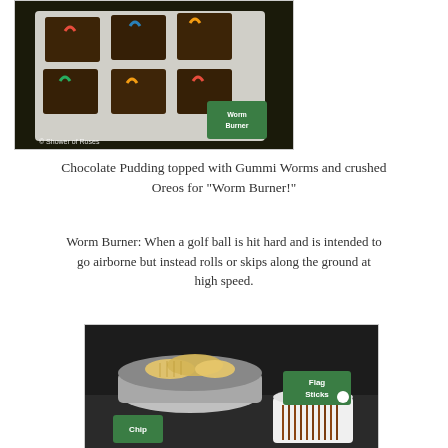[Figure (photo): Chocolate pudding cups topped with Gummi Worms and crushed Oreos on a white tray, with a green 'Worm Burner' label sign. Photo credited to Shower of Roses.]
Chocolate Pudding topped with Gummi Worms and crushed Oreos for "Worm Burner!"
Worm Burner: When a golf ball is hit hard and is intended to go airborne but instead rolls or skips along the ground at high speed.
[Figure (photo): A silver bowl of ridged potato chips labeled 'Chip' and a white bowl of pretzel sticks labeled 'Flag Sticks' with green golf-themed signs.]